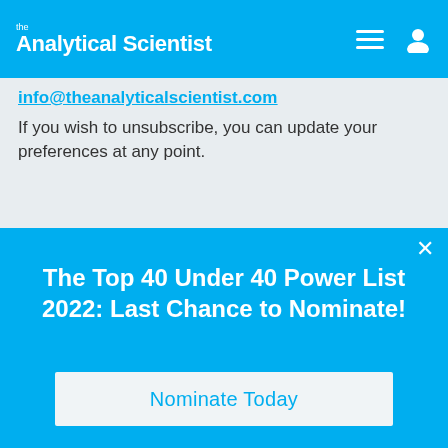the Analytical Scientist
info@theanalyticalscientist.com
If you wish to unsubscribe, you can update your preferences at any point.
Subscribe
The Top 40 Under 40 Power List 2022: Last Chance to Nominate!
Nominate Today